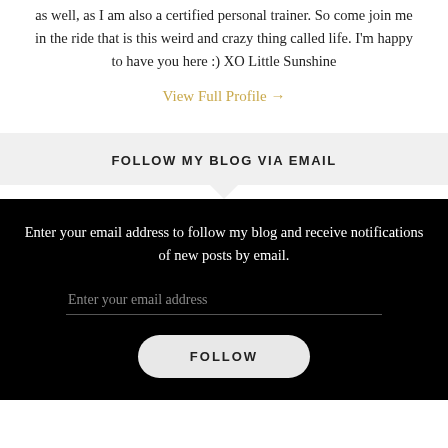as well, as I am also a certified personal trainer. So come join me in the ride that is this weird and crazy thing called life. I'm happy to have you here :) XO Little Sunshine
View Full Profile →
FOLLOW MY BLOG VIA EMAIL
Enter your email address to follow my blog and receive notifications of new posts by email.
Enter your email address
FOLLOW